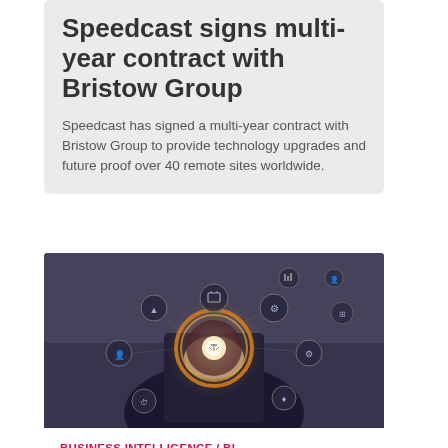Speedcast signs multi-year contract with Bristow Group
Speedcast has signed a multi-year contract with Bristow Group to provide technology upgrades and future proof over 40 remote sites worldwide.
[Figure (photo): Photo of a person in a suit holding a glowing holographic icon surrounded by circular technology/AI interface icons]
BUSINESS INTELLIGENCE / BI
Why is business